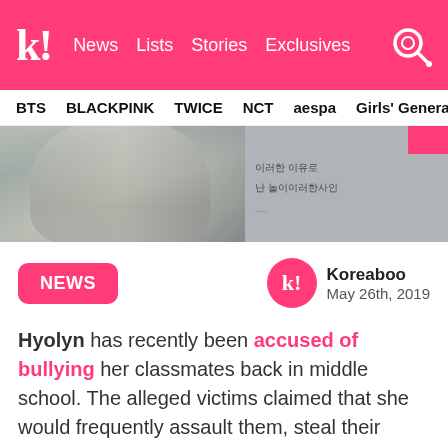k! News Lists Stories Exclusives
BTS BLACKPINK TWICE NCT aespa Girls' Generation
[Figure (photo): Photo of a person with tattoos and white/silver hair on the left, and a dark screenshot of KakaoTalk messages on the right with a pink/red block in top right corner]
NEWS
Koreaboo
May 26th, 2019
Hyolyn has recently been accused of bullying her classmates back in middle school. The alleged victims claimed that she would frequently assault them, steal their clothes, curse at them and more.
The original accuser revealed a KakaoTalk